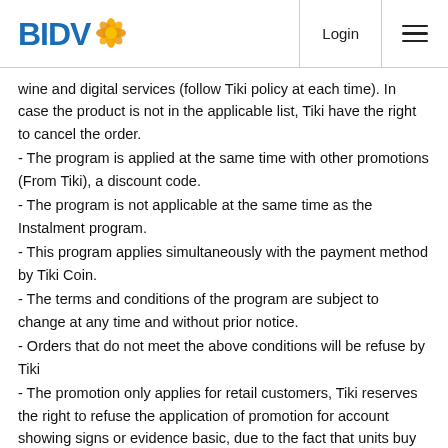BIDV | Login
wine and digital services (follow Tiki policy at each time). In case the product is not in the applicable list, Tiki have the right to cancel the order.
- The program is applied at the same time with other promotions (From Tiki), a discount code.
- The program is not applicable at the same time as the Instalment program.
- This program applies simultaneously with the payment method by Tiki Coin.
- The terms and conditions of the program are subject to change at any time and without prior notice.
- Orders that do not meet the above conditions will be refuse by Tiki
- The promotion only applies for retail customers, Tiki reserves the right to refuse the application of promotion for account showing signs or evidence basic, due to the fact that units buy and sell.
For more information, please contact us via: TIKI hotline: 1900-